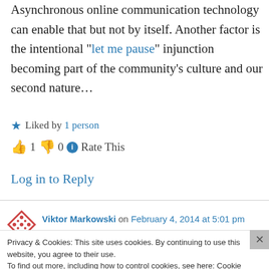Asynchronous online communication technology can enable that but not by itself. Another factor is the intentional “let me pause” injunction becoming part of the community’s culture and our second nature…
★ Liked by 1 person
👍 1 👎 0 ℹ Rate This
Log in to Reply
Viktor Markowski on February 4, 2014 at 5:01 pm
Privacy & Cookies: This site uses cookies. By continuing to use this website, you agree to their use.
To find out more, including how to control cookies, see here: Cookie Policy
Close and accept